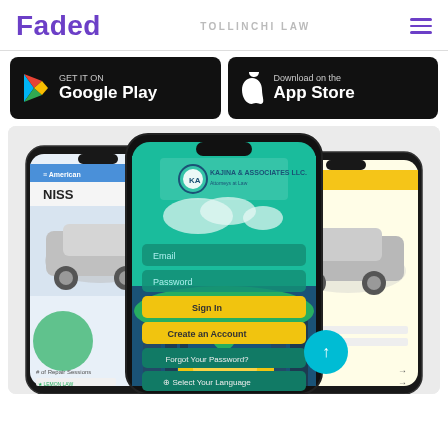Faded
TOLLINCHI LAW
[Figure (logo): Google Play store download button with Play triangle logo]
[Figure (logo): Apple App Store download button with Apple logo]
[Figure (screenshot): Three smartphones showing the Faded / Kajina Associates LLC law app screens including login screen with Email, Password fields, Sign In, Create an Account, Forgot Your Password, Select Your Language buttons, and other screens showing American car listings and lemon law features]